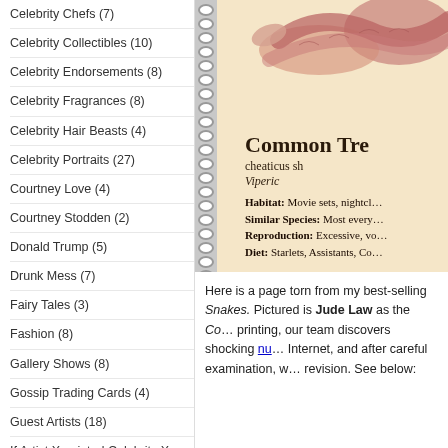Celebrity Chefs (7)
Celebrity Collectibles (10)
Celebrity Endorsements (8)
Celebrity Fragrances (8)
Celebrity Hair Beasts (4)
Celebrity Portraits (27)
Courtney Love (4)
Courtney Stodden (2)
Donald Trump (5)
Drunk Mess (7)
Fairy Tales (3)
Fashion (8)
Gallery Shows (8)
Gossip Trading Cards (4)
Guest Artists (18)
If Artist X painted Celebrity X (10)
Jeff Polage: Unemployed Actor (10)
Jessica Simpson (6)
[Figure (illustration): A notebook page illustration showing a snake (Common Tre... cheaticus sh... Viperic...) with habitat, similar species, reproduction, and diet fields. Spiral binding on left side.]
Here is a page torn from my best-selling Snakes. Pictured is Jude Law as the Co... printing, our team discovers shocking nu... Internet, and after careful examination, w... revision. See below: